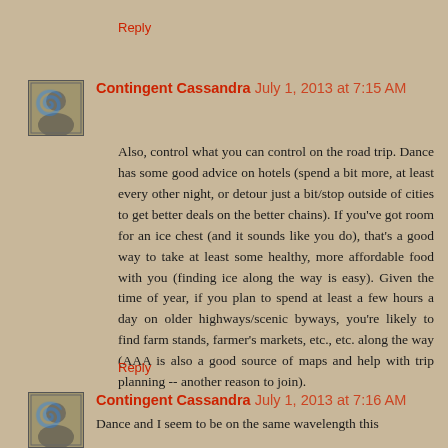Reply
Contingent Cassandra July 1, 2013 at 7:15 AM
Also, control what you can control on the road trip. Dance has some good advice on hotels (spend a bit more, at least every other night, or detour just a bit/stop outside of cities to get better deals on the better chains). If you've got room for an ice chest (and it sounds like you do), that's a good way to take at least some healthy, more affordable food with you (finding ice along the way is easy). Given the time of year, if you plan to spend at least a few hours a day on older highways/scenic byways, you're likely to find farm stands, farmer's markets, etc., etc. along the way (AAA is also a good source of maps and help with trip planning -- another reason to join).
Reply
Contingent Cassandra July 1, 2013 at 7:16 AM
Dance and I seem to be on the same wavelength this